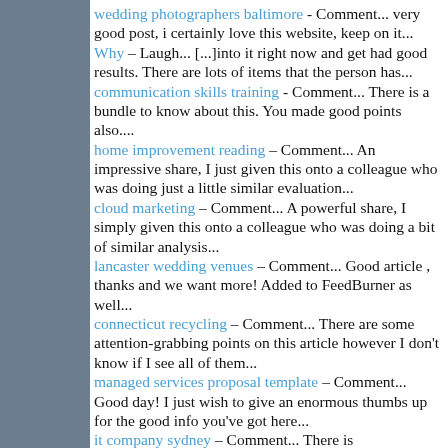wedding photographers baltimore - Comment... very good post, i certainly love this website, keep on it...
Why - Laugh... [...]into it right now and get had good results. There are lots of items that the person has...
communication skills training - Comment... There is a bundle to know about this. You made good points also....
home improvement reading - Comment... An impressive share, I just given this onto a colleague who was doing just a little similar evaluation...
cloud marketing - Comment... A powerful share, I simply given this onto a colleague who was doing a bit of similar analysis...
lancaster wedding venues - Comment... Good article , thanks and we want more! Added to FeedBurner as well...
connecticut recycling - Comment... There are some attention-grabbing points on this article however I don't know if I see all of them...
managed services proposal template - Comment... Good day! I just wish to give an enormous thumbs up for the good info you've got here...
it company sydney - Comment... There is